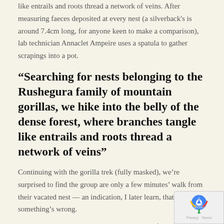like entrails and roots thread a network of veins. After measuring faeces deposited at every nest (a silverback's is around 7.4cm long, for anyone keen to make a comparison), lab technician Annaclet Ampeire uses a spatula to gather scrapings into a pot.
“Searching for nests belonging to the Rushegura family of mountain gorillas, we hike into the belly of the dense forest, where branches tangle like entrails and roots thread a network of veins”
Continuing with the gorilla trek (fully masked), we’re surprised to find the group are only a few minutes’ walk from their vacated nest — an indication, I later learn, that something’s wrong.
“That wasn’t there yesterday,” exclaims one of the track pointing to a newborn gorilla clinging to silverback